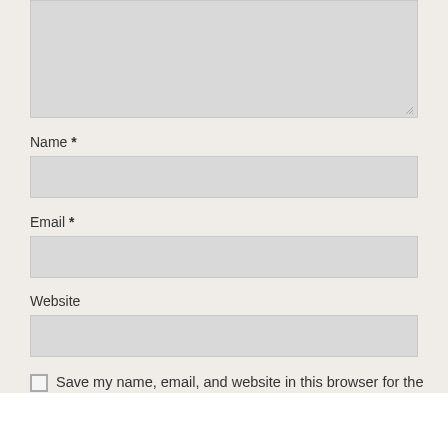[Figure (screenshot): Comment form textarea (top portion visible), gray background input field with resize handle at bottom right]
Name *
[Figure (screenshot): Name input field, gray rectangle]
Email *
[Figure (screenshot): Email input field, gray rectangle]
Website
[Figure (screenshot): Website input field, gray rectangle]
Save my name, email, and website in this browser for the